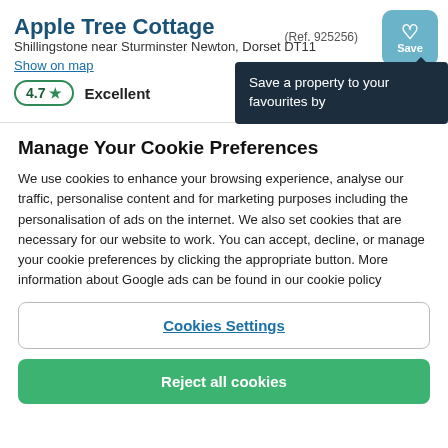Apple Tree Cottage
Shillingstone near Sturminster Newton, Dorset DT11
Show on map
(Ref. 925256)
Save
Save a property to your favourites by
4.7 ★   Excellent
Manage Your Cookie Preferences
We use cookies to enhance your browsing experience, analyse our traffic, personalise content and for marketing purposes including the personalisation of ads on the internet. We also set cookies that are necessary for our website to work. You can accept, decline, or manage your cookie preferences by clicking the appropriate button. More information about Google ads can be found in our cookie policy
Cookies Settings
Reject all cookies